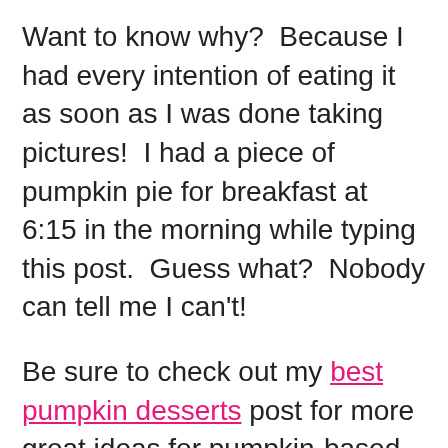Want to know why?  Because I had every intention of eating it as soon as I was done taking pictures!  I had a piece of pumpkin pie for breakfast at 6:15 in the morning while typing this post.  Guess what?  Nobody can tell me I can't!
Be sure to check out my best pumpkin desserts post for more great ideas for pumpkin-based desserts!
Happy Thanksgiving all!  Make it a wonderful day and remember that each